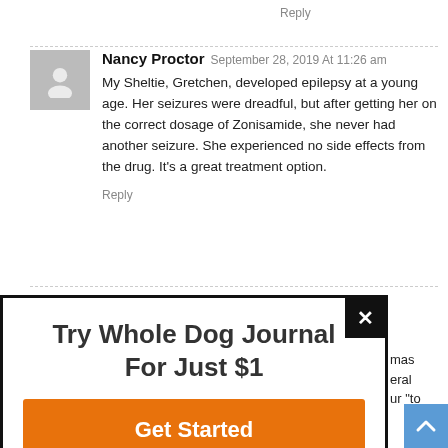Reply
Nancy Proctor September 28, 2019 At 11:26 am
My Sheltie, Gretchen, developed epilepsy at a young age. Her seizures were dreadful, but after getting her on the correct dosage of Zonisamide, she never had another seizure. She experienced no side effects from the drug. It's a great treatment option.
Reply
sumer December 15, 2021 At 2:11 pm
[Figure (screenshot): Popup modal with text 'Try Whole Dog Journal For Just $1' and orange 'Get Started' button with X close button]
mas eral ur "to